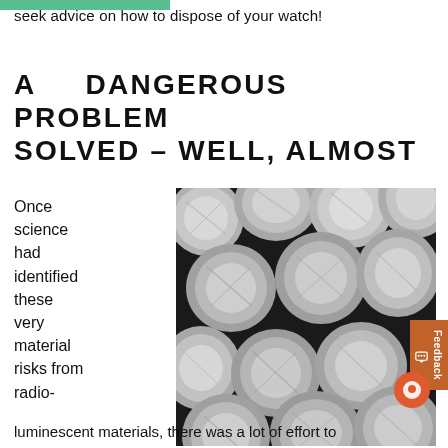seek advice on how to dispose of your watch!
A DANGEROUS PROBLEM SOLVED – WELL, ALMOST
Once science had identified these very material risks from radio-
[Figure (photo): Close-up photo of multiple cylindrical metal rods or discs with brushed silver/gray surfaces, tightly packed together, viewed from their circular ends.]
luminescent materials, there was a lot of effort to